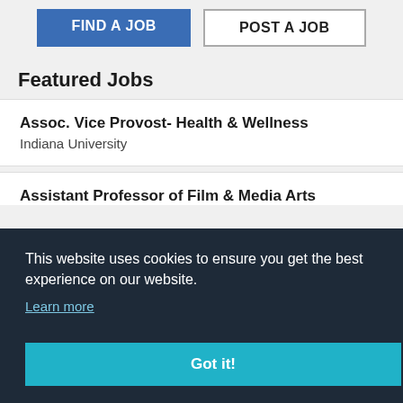[Figure (screenshot): Two navigation buttons: 'FIND A JOB' (blue filled) and 'POST A JOB' (white outlined)]
Featured Jobs
Assoc. Vice Provost- Health & Wellness
Indiana University
Assistant Professor of Film & Media Arts
This website uses cookies to ensure you get the best experience on our website.
Learn more
Got it!
Columbus State University